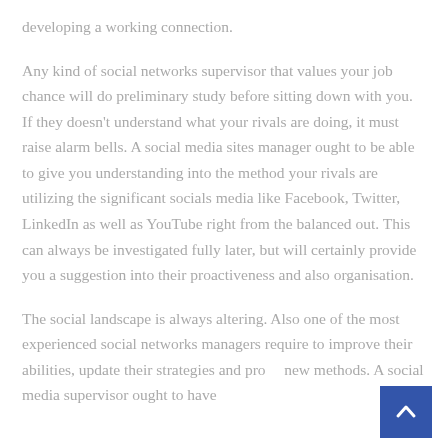developing a working connection.
Any kind of social networks supervisor that values your job chance will do preliminary study before sitting down with you. If they doesn't understand what your rivals are doing, it must raise alarm bells. A social media sites manager ought to be able to give you understanding into the method your rivals are utilizing the significant socials media like Facebook, Twitter, LinkedIn as well as YouTube right from the balanced out. This can always be investigated fully later, but will certainly provide you a suggestion into their proactiveness and also organisation.
The social landscape is always altering. Also one of the most experienced social networks managers require to improve their abilities, update their strategies and probe new methods. A social media supervisor ought to have